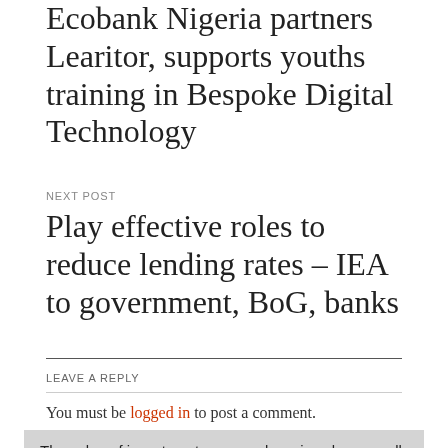Ecobank Nigeria partners Learitor, supports youths training in Bespoke Digital Technology
NEXT POST
Play effective roles to reduce lending rates – IEA to government, BoG, banks
LEAVE A REPLY
You must be logged in to post a comment.
[Figure (other): Facebook and Google Plus social sharing icons]
The value of investments can go down in value as well as up, so you could get back less than you invest. Past performance does not necessarily indicate a financial product's future performance.